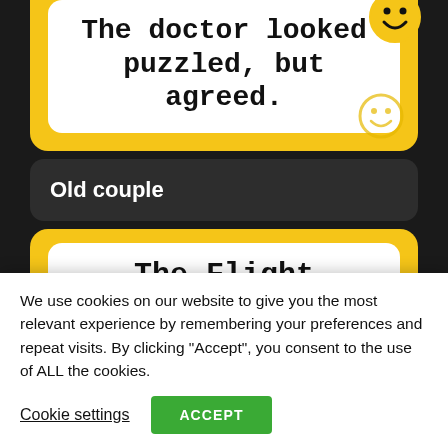The doctor looked puzzled, but agreed.
Old couple
The Flight Attendant
We use cookies on our website to give you the most relevant experience by remembering your preferences and repeat visits. By clicking "Accept", you consent to the use of ALL the cookies.
Cookie settings
ACCEPT